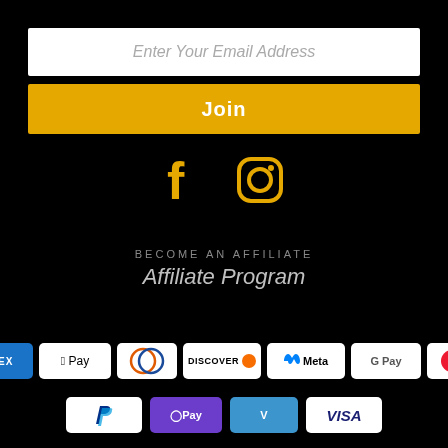Enter Your Email Address
Join
[Figure (illustration): Facebook and Instagram social media icons in gold/yellow color on black background]
BECOME AN AFFILIATE
Affiliate Program
[Figure (illustration): Payment method logos row 1: AMEX, Apple Pay, Diners Club, Discover, Meta Pay, Google Pay, Mastercard]
[Figure (illustration): Payment method logos row 2: PayPal, OPay, Venmo, Visa]